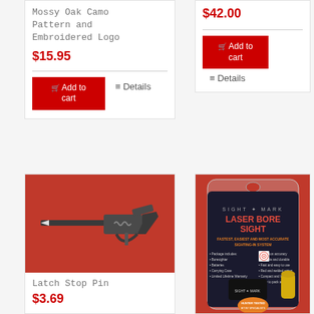Mossy Oak Camo Pattern and Embroidered Logo
$15.95
Add to cart
Details
$42.00
Add to cart
Details
[Figure (photo): Gun trigger mechanism / latch stop pin part on red background]
Latch Stop Pin
$3.69
[Figure (photo): Sightmark Laser Bore Sight product in packaging on red background]